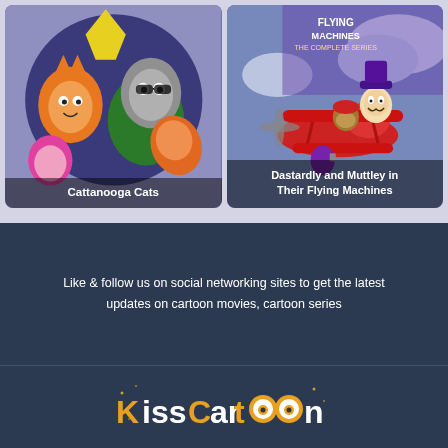[Figure (illustration): Cattanooga Cats cartoon show cover art showing animated cat characters on a dark blue/purple circular background]
Cattanooga Cats
[Figure (illustration): Dastardly and Muttley in Their Flying Machines DVD cover showing cartoon characters in a red biplane]
Dastardly and Muttley in Their Flying Machines
Like & follow us on social networking sites to get the latest updates on cartoon movies, cartoon series
[Figure (logo): KissCartoon logo with orange and white text, featuring stylized eyes in the double-O letters]